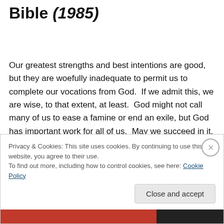Bible (1985)
Our greatest strengths and best intentions are good, but they are woefully inadequate to permit us to complete our vocations from God.  If we admit this, we are wise, to that extent, at least.  God might not call many of us to ease a famine or end an exile, but God has important work for all of us.  May we succeed in it, for divine glory, by grace.
Privacy & Cookies: This site uses cookies. By continuing to use this website, you agree to their use.
To find out more, including how to control cookies, see here: Cookie Policy
Close and accept